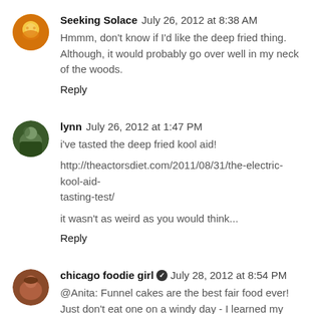Seeking Solace  July 26, 2012 at 8:38 AM
Hmmm, don't know if I'd like the deep fried thing. Although, it would probably go over well in my neck of the woods.
Reply
lynn  July 26, 2012 at 1:47 PM
i've tasted the deep fried kool aid!
http://theactorsdiet.com/2011/08/31/the-electric-kool-aid-tasting-test/
it wasn't as weird as you would think...
Reply
chicago foodie girl  July 28, 2012 at 8:54 PM
@Anita: Funnel cakes are the best fair food ever! Just don't eat one on a windy day - I learned my lesson when I ended up